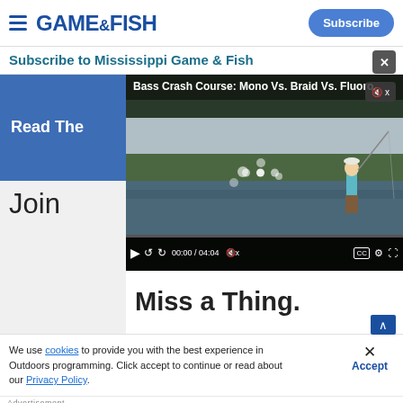GAME&FISH | Subscribe
Subscribe to Mississippi Game & Fish
[Figure (screenshot): Video player showing 'Bass Crash Course: Mono Vs. Braid Vs. Fluoro' with a fisherman on a lake, controls showing 00:00 / 04:04]
Join
Miss a Thing.
We use cookies to provide you with the best experience in Outdoors programming. Click accept to continue or read about our Privacy Policy.
[Figure (photo): Benelli SBE3 shotgun advertisement with gun image and Benelli logo]